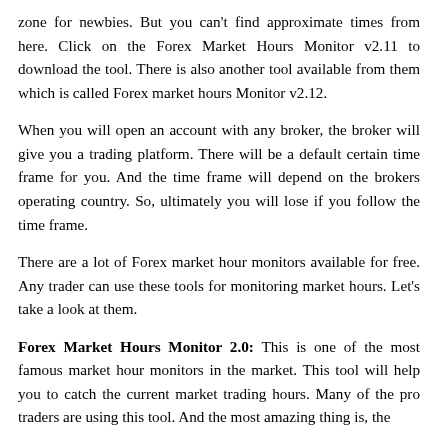zone for newbies. But you can't find approximate times from here. Click on the Forex Market Hours Monitor v2.11 to download the tool. There is also another tool available from them which is called Forex market hours Monitor v2.12.
When you will open an account with any broker, the broker will give you a trading platform. There will be a default certain time frame for you. And the time frame will depend on the brokers operating country. So, ultimately you will lose if you follow the time frame.
There are a lot of Forex market hour monitors available for free. Any trader can use these tools for monitoring market hours. Let's take a look at them.
Forex Market Hours Monitor 2.0: This is one of the most famous market hour monitors in the market. This tool will help you to catch the current market trading hours. Many of the pro traders are using this tool. And the most amazing thing is, the